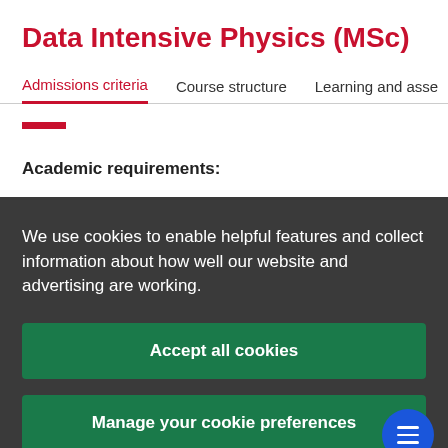Data Intensive Physics (MSc)
Admissions criteria  Course structure  Learning and asse
Academic requirements:
We use cookies to enable helpful features and collect information about how well our website and advertising are working.
Accept all cookies
Manage your cookie preferences